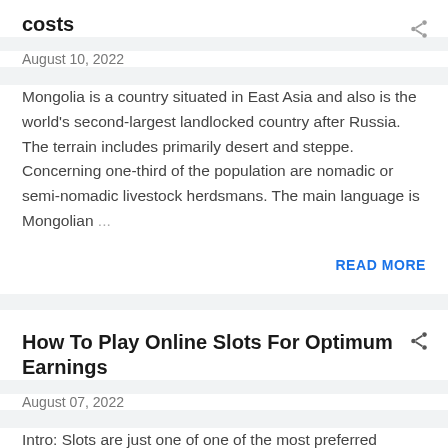Get a taste of Mongolian culture by costs
August 10, 2022
Mongolia is a country situated in East Asia and also is the world's second-largest landlocked country after Russia. The terrain includes primarily desert and steppe. Concerning one-third of the population are nomadic or semi-nomadic livestock herdsmans. The main language is Mongolian …
READ MORE
How To Play Online Slots For Optimum Earnings
August 07, 2022
Intro: Slots are just one of one of the most preferred casino